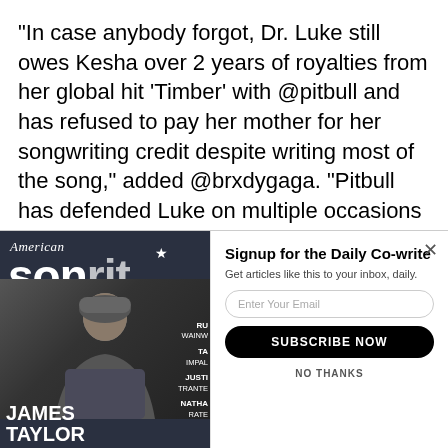“In case anybody forgot, Dr. Luke still owes Kesha over 2 years of royalties from her global hit ‘Timber’ with @pitbull and has refused to pay her mother for her songwriting credit despite writing most of the song,” added @brxdygaga. “Pitbull has defended Luke on multiple occasions as well #freekesha.”
[Figure (photo): American Songwriter magazine cover featuring James Taylor, with text overlays for various features]
Signup for the Daily Co-write
Get articles like this to your inbox, daily.
[Enter Your Email]
[SUBSCRIBE NOW]
NO THANKS